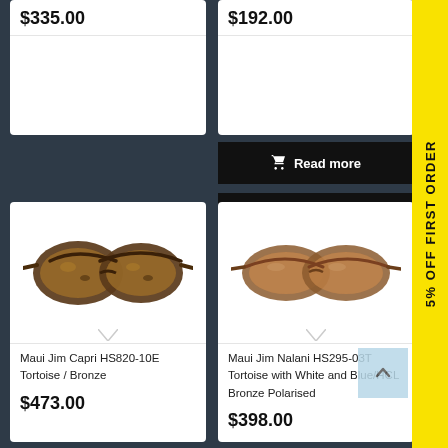$335.00
$192.00
Read more
Add to wishlist
[Figure (photo): Maui Jim Capri HS820-10E tortoise/bronze cat-eye sunglasses on white background]
Maui Jim Capri HS820-10E Tortoise / Bronze
$473.00
[Figure (photo): Maui Jim Nalani HS295-03T tortoise sunglasses on white background]
Maui Jim Nalani HS295-03T Tortoise with White and Blue/HCL Bronze Polarised
$398.00
5% OFF FIRST ORDER